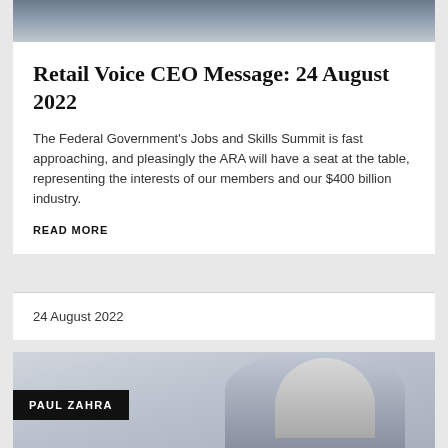[Figure (photo): Top portion of a photo showing two people in dark business attire, cropped to show only upper torsos/shoulders area]
Retail Voice CEO Message: 24 August 2022
The Federal Government's Jobs and Skills Summit is fast approaching, and pleasingly the ARA will have a seat at the table, representing the interests of our members and our $400 billion industry.
READ MORE
24 August 2022
[Figure (photo): Portrait photo of Paul Zahra, a middle-aged man in a dark suit, smiling, with grey hair. Name tag overlay reads 'PAUL ZAHRA']